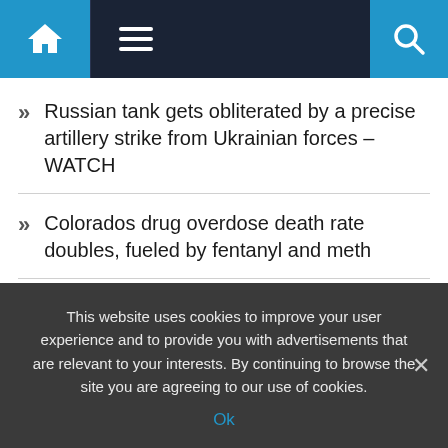Navigation bar with home, menu, and search icons
Russian tank gets obliterated by a precise artillery strike from Ukrainian forces – WATCH
Colorados drug overdose death rate doubles, fueled by fentanyl and meth
Hospital worker slams Brexit over NHS crisis: Shouldnt have left the EU!
Russia blocks final text of nuclear disarmament treaty at
This website uses cookies to improve your user experience and to provide you with advertisements that are relevant to your interests. By continuing to browse the site you are agreeing to our use of cookies.
Ok